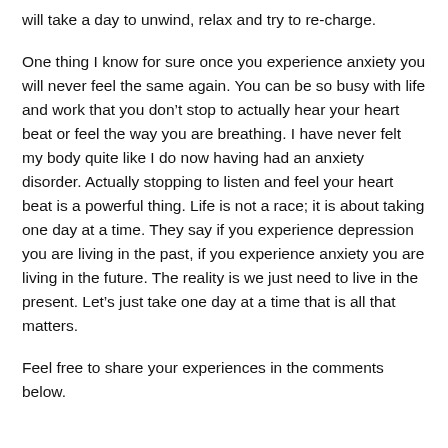will take a day to unwind, relax and try to re-charge.
One thing I know for sure once you experience anxiety you will never feel the same again. You can be so busy with life and work that you don’t stop to actually hear your heart beat or feel the way you are breathing. I have never felt my body quite like I do now having had an anxiety disorder. Actually stopping to listen and feel your heart beat is a powerful thing. Life is not a race; it is about taking one day at a time. They say if you experience depression you are living in the past, if you experience anxiety you are living in the future. The reality is we just need to live in the present. Let’s just take one day at a time that is all that matters.
Feel free to share your experiences in the comments below.